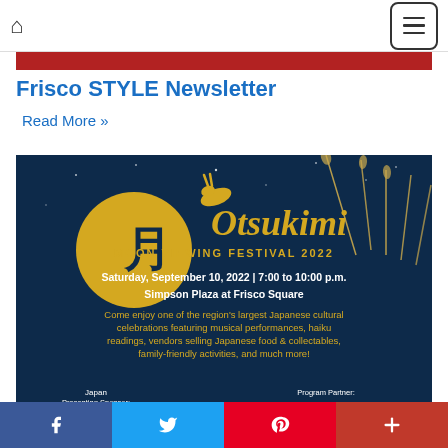Home | Menu
[Figure (illustration): Red banner strip at top of content area]
Frisco STYLE Newsletter
Read More »
[Figure (illustration): Otsukimi Moon Viewing Festival 2022 poster. Dark navy background with gold moon circle containing Japanese character, rabbit leaping, decorative grass/reeds. Text: Otsukimi MOON VIEWING FESTIVAL 2022. Saturday, September 10, 2022 | 7:00 to 10:00 p.m. Simpson Plaza at Frisco Square. Come enjoy one of the region's largest Japanese cultural celebrations featuring musical performances, haiku readings, vendors selling Japanese food & collectables, family-friendly activities, and much more! Presenting Sponsor: Japan. Program Partner:]
f (Facebook) | Twitter | Pinterest | +